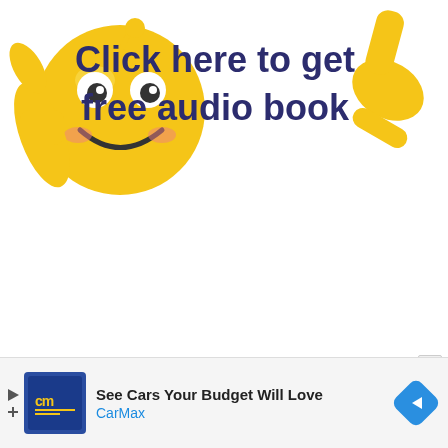[Figure (illustration): Cartoon smiley face emoji with thumbs up on the left, bold dark blue text 'Click here to get free audio book' in the center, and a pointing hand emoji on the upper right]
[Figure (infographic): CarMax advertisement banner with CM logo in dark blue box, text 'See Cars Your Budget Will Love' and 'CarMax' in blue, with a blue diamond navigation icon on the right]